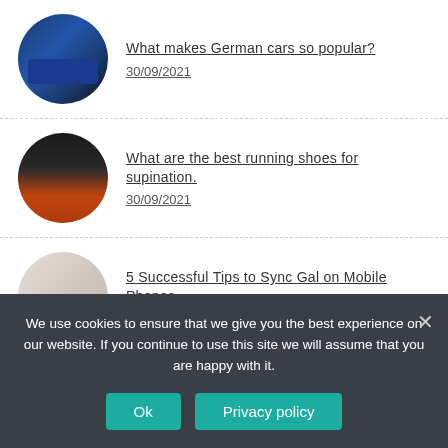What makes German cars so popular? — 30/09/2021
What are the best running shoes for supination. — 30/09/2021
5 Successful Tips to Sync Gal on Mobile Phones — 30/09/2021
Best Alternatives to WinDirStat for Windows — 30/09/2021
We use cookies to ensure that we give you the best experience on our website. If you continue to use this site we will assume that you are happy with it.